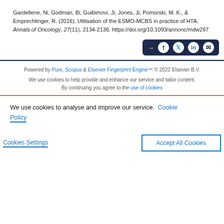Gardellene, Ni, Godman, Bi, Guibimovi, Ji, Jones, Ji, Pomorski, M. K., & Emprechtinger, R. (2016). Utilisation of the ESMO-MCBS in practice of HTA. Annals of Oncology, 27(11), 2134-2136. https://doi.org/10.1093/annonc/mdw297
[Figure (other): Share button group with icons for Facebook, Twitter, LinkedIn, and email on dark navy background]
Powered by Pure, Scopus & Elsevier Fingerprint Engine™ © 2022 Elsevier B.V.
We use cookies to help provide and enhance our service and tailor content. By continuing you agree to the use of cookies
We use cookies to analyse and improve our service. Cookie Policy
Cookies Settings
Accept All Cookies